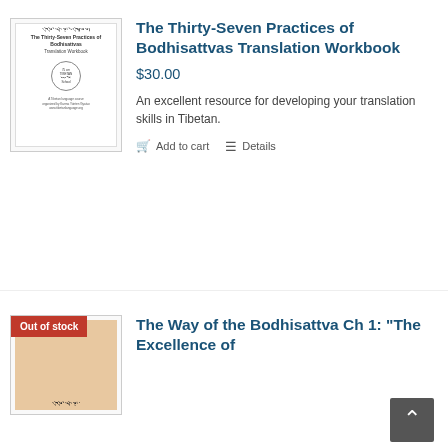[Figure (illustration): Book cover of The Thirty-Seven Practices of Bodhisattvas Translation Workbook — white cover with printed text and a circular seal/logo in the center]
The Thirty-Seven Practices of Bodhisattvas Translation Workbook
$30.00
An excellent resource for developing your translation skills in Tibetan.
Add to cart   Details
[Figure (illustration): Book cover partially visible with an 'Out of stock' red badge overlay]
The Way of the Bodhisattva Ch 1: "The Excellence of